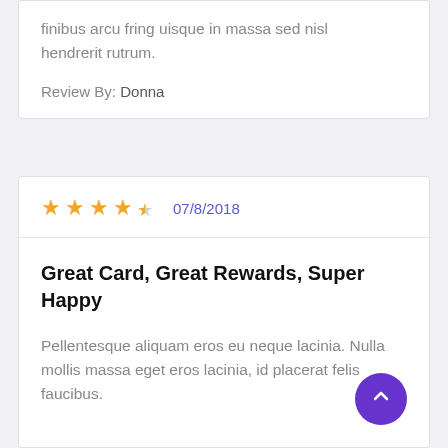finibus arcu fring uisque in massa sed nisl hendrerit rutrum.
Review By: Donna
★★★★½  07/8/2018
Great Card, Great Rewards, Super Happy
Pellentesque aliquam eros eu neque lacinia. Nulla mollis massa eget eros lacinia, id placerat felis faucibus.